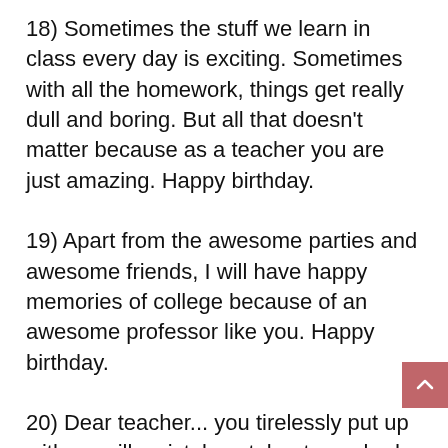18) Sometimes the stuff we learn in class every day is exciting. Sometimes with all the homework, things get really dull and boring. But all that doesn't matter because as a teacher you are just amazing. Happy birthday.
19) Apart from the awesome parties and awesome friends, I will have happy memories of college because of an awesome professor like you. Happy birthday.
20) Dear teacher... you tirelessly put up with my silly mistakes, tolerate my bad behavior and succumb to my crazy tantrums in school. You should be given an award because even my parents can't handle all that without...